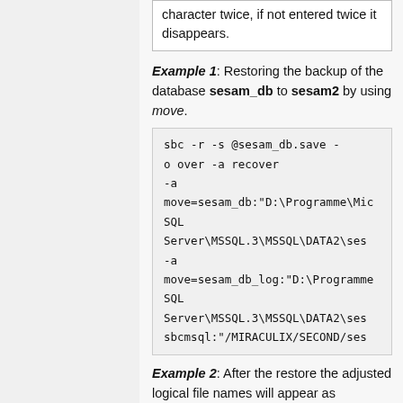| character twice, if not entered twice it disappears. |
Example 1: Restoring the backup of the database sesam_db to sesam2 by using move.
sbc -r -s @sesam_db.save -o over -a recover
-a move=sesam_db:"D:\Programme\Mic SQL Server\MSSQL.3\MSSQL\DATA2\ses
-a move=sesam_db_log:"D:\Programme\ SQL Server\MSSQL.3\MSSQL\DATA2\ses sbcmsql:"/MIRACULIX/SECOND/ses
Example 2: After the restore the adjusted logical file names will appear as